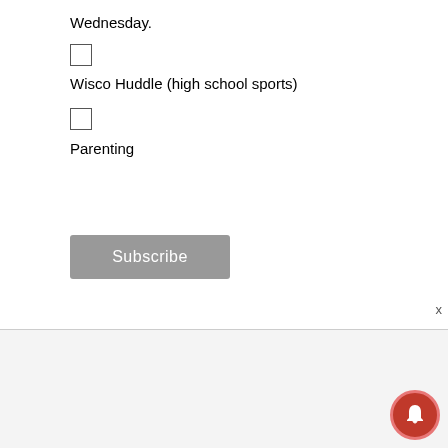Wednesday.
Wisco Huddle (high school sports)
Parenting
Subscribe
Advertisement
[Figure (screenshot): Advertisement for BeenVerified phone number search with input fields for area code, exchange, and number, plus a Search button]